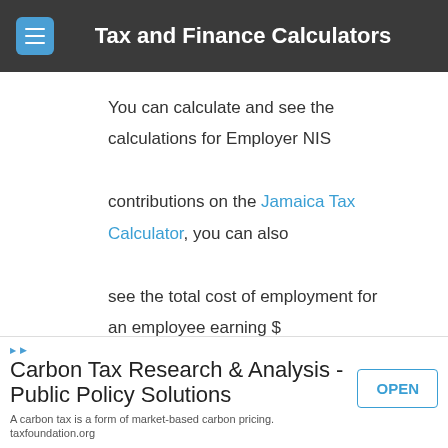Tax and Finance Calculators
You can calculate and see the calculations for Employer NIS contributions on the Jamaica Tax Calculator, you can also see the total cost of employment for an employee earning $ 269,000.00.
Education Tax Calculation
Education tax is paid by all individuals aged 18 to 65. The education tax deduction is taken directly from employee
[Figure (other): Advertisement banner for Carbon Tax Research & Analysis - Public Policy Solutions from taxfoundation.org with an OPEN button]